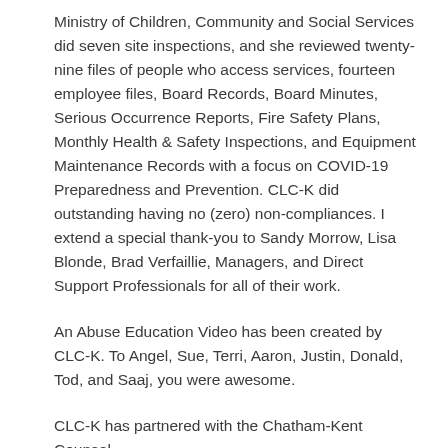Ministry of Children, Community and Social Services did seven site inspections, and she reviewed twenty-nine files of people who access services, fourteen employee files, Board Records, Board Minutes, Serious Occurrence Reports, Fire Safety Plans, Monthly Health & Safety Inspections, and Equipment Maintenance Records with a focus on COVID-19 Preparedness and Prevention. CLC-K did outstanding having no (zero) non-compliances. I extend a special thank-you to Sandy Morrow, Lisa Blonde, Brad Verfaillie, Managers, and Direct Support Professionals for all of their work.
An Abuse Education Video has been created by CLC-K. To Angel, Sue, Terri, Aaron, Justin, Donald, Tod, and Saaj, you were awesome.
CLC-K has partnered with the Chatham-Kent Counsel